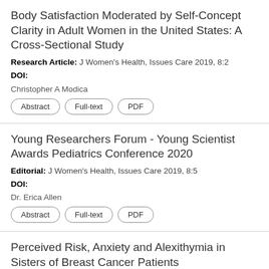Body Satisfaction Moderated by Self-Concept Clarity in Adult Women in the United States: A Cross-Sectional Study
Research Article: J Women's Health, Issues Care 2019, 8:2
DOI:
Christopher A Modica
[Abstract] [Full-text] [PDF]
Young Researchers Forum - Young Scientist Awards Pediatrics Conference 2020
Editorial: J Women's Health, Issues Care 2019, 8:5
DOI:
Dr. Erica Allen
[Abstract] [Full-text] [PDF]
Perceived Risk, Anxiety and Alexithymia in Sisters of Breast Cancer Patients
Research Article: J Womens Health, Issues Care 2018, 7:2
DOI: 10.4172/2325-9795.1000303
Veena Shukla Mishra and Dhanan...
[Figure (other): WhatsApp chat bubble icon (green circle with white phone icon)]
Leave a message  X